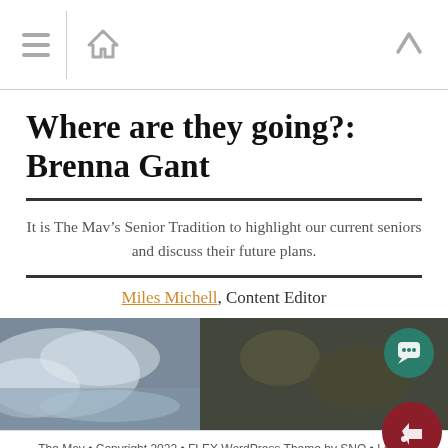[Navigation bar with menu, home, and up icons]
Where are they going?: Brenna Gant
It is The Mav’s Senior Tradition to highlight our current seniors and discuss their future plans.
Miles Michell, Content Editor
[Figure (photo): Outdoor nature photo showing water or misty scene with dark foliage in the background]
The Mav • Copyright 2022 • FLEX WordPress Theme by SNO • Log in